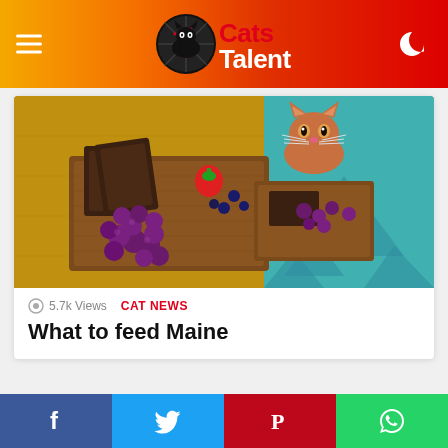Cats Talent
[Figure (photo): A cat sitting behind a wooden cutting board with bread slices, grapes, and berries on colorful fabric]
5.7k Views
CAT NEWS
What to feed Maine